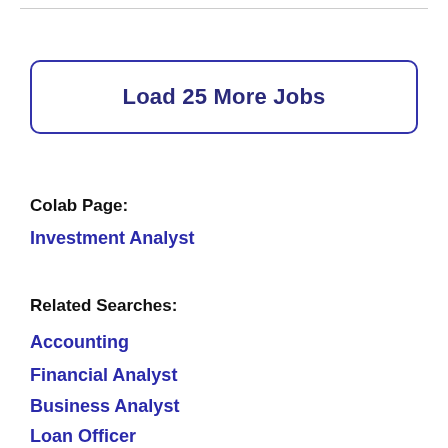Load 25 More Jobs
Colab Page:
Investment Analyst
Related Searches:
Accounting
Financial Analyst
Business Analyst
Loan Officer
Auditing